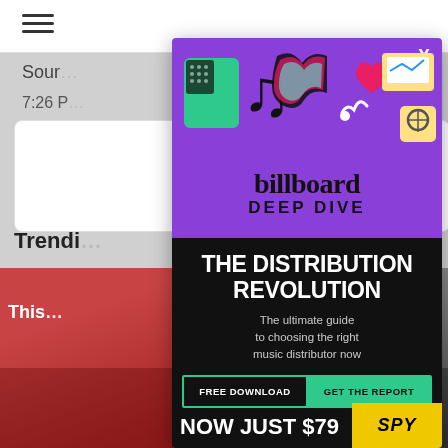[Figure (screenshot): Background of a mobile website with hamburger menu, source label, timestamp '7:26 P', heart icon with count '4', pill-shaped button, 'Trending' section header with photo thumbnails of people]
[Figure (infographic): Billboard Deep Dive advertisement overlay. Purple top section with TikTok and other app icons illustration, 'billboard DEEP DIVE' branding. Black bottom section with 'THE DISTRIBUTION REVOLUTION' headline, subtitle 'The ultimate guide to choosing the right music distributor now', buttons 'FREE DOWNLOAD' and 'GET THE REPORT', and 'NOW JUST $79' with SPY logo]